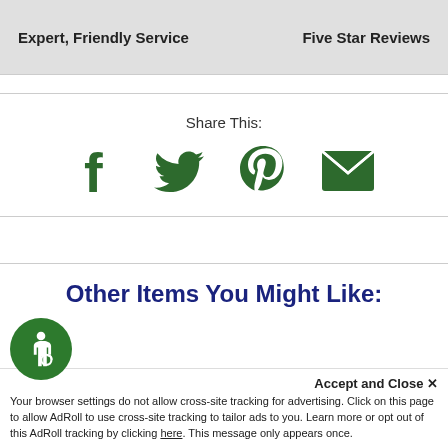Expert, Friendly Service   Five Star Reviews
Share This:
[Figure (infographic): Four social sharing icons in green: Facebook (f), Twitter (bird), Pinterest (P), Email (envelope)]
Other Items You Might Like:
Accept and Close ×
Your browser settings do not allow cross-site tracking for advertising. Click on this page to allow AdRoll to use cross-site tracking to tailor ads to you. Learn more or opt out of this AdRoll tracking by clicking here. This message only appears once.